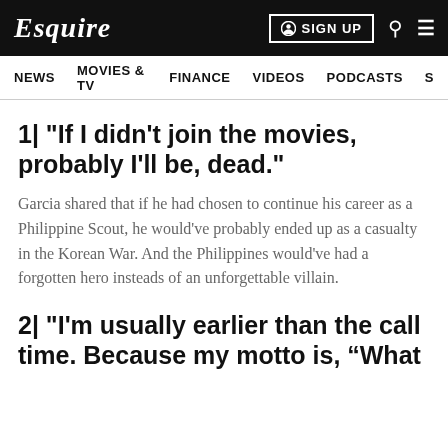Esquire  SIGN UP
NEWS  MOVIES & TV  FINANCE  VIDEOS  PODCASTS
1| "If I didn't join the movies, probably I'll be, dead."
Garcia shared that if he had chosen to continue his career as a Philippine Scout, he would've probably ended up as a casualty in the Korean War. And the Philippines would've had a forgotten hero insteads of an unforgettable villain.
2| "I'm usually earlier than the call time. Because my motto is, “What